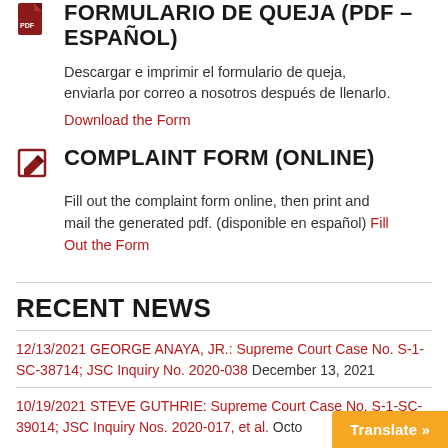FORMULARIO DE QUEJA (PDF – ESPAÑOL)
Descargar e imprimir el formulario de queja, enviarla por correo a nosotros después de llenarlo. Download the Form
COMPLAINT FORM (ONLINE)
Fill out the complaint form online, then print and mail the generated pdf. (disponible en español) Fill Out the Form
RECENT NEWS
12/13/2021 GEORGE ANAYA, JR.: Supreme Court Case No. S-1-SC-38714; JSC Inquiry No. 2020-038 December 13, 2021
10/19/2021 STEVE GUTHRIE: Supreme Court Case No. S-1-SC-39014; JSC Inquiry Nos. 2020-017, et al. Octo...